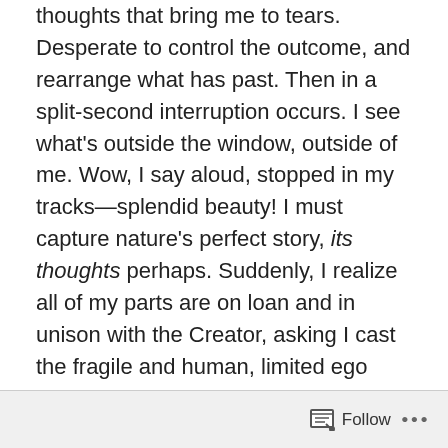thoughts that bring me to tears. Desperate to control the outcome, and rearrange what has past. Then in a split-second interruption occurs. I see what's outside the window, outside of me. Wow, I say aloud, stopped in my tracks—splendid beauty! I must capture nature's perfect story, its thoughts perhaps. Suddenly, I realize all of my parts are on loan and in unison with the Creator, asking I cast the fragile and human, limited ego aside. Dry your eyes. Trust everything is evolving as it should. See the tree rooted in nourishment. Upright, forming intricate branches—each having gone through rough, barren winter, the hopeful new birth of spring, joyous, playful summer, sprouting blooms of love in color, and in fall surrendering its leaves. I am witness to the miracle of existence. Every second, season, choreographed to
Follow